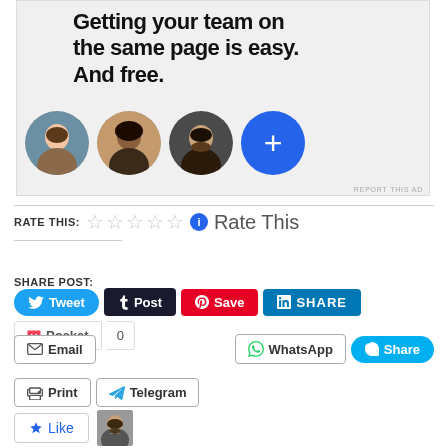[Figure (screenshot): Advertisement banner showing text 'Getting your team on the same page is easy. And free.' with three circular profile photos and a blue plus button, on grey background.]
REPORT THIS AD
RATE THIS: ☆☆☆☆☆ ℹ Rate This
SHARE POST:
Tweet  Post  Save  SHARE  Pocket  0  Email  WhatsApp  Share  Print  Telegram
Like  [avatar image]  One blogger likes this.